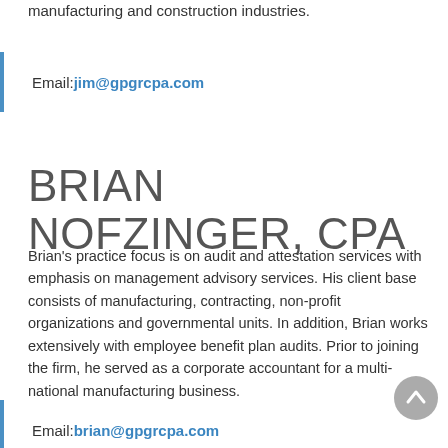manufacturing and construction industries.
Email: jim@gpgrcpa.com
BRIAN NOFZINGER, CPA
Brian's practice focus is on audit and attestation services with emphasis on management advisory services. His client base consists of manufacturing, contracting, non-profit organizations and governmental units. In addition, Brian works extensively with employee benefit plan audits. Prior to joining the firm, he served as a corporate accountant for a multi-national manufacturing business.
Email: brian@gpgrcpa.com